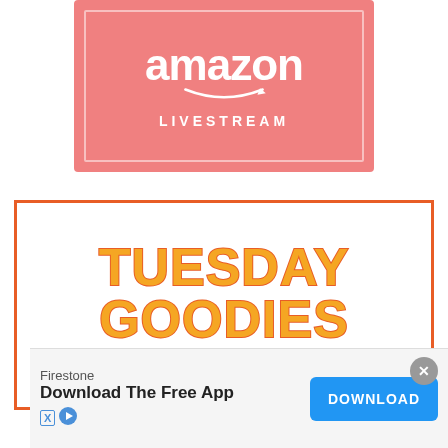[Figure (logo): Amazon Livestream promotional banner with salmon/coral pink background, Amazon logo text in white, smile arrow graphic, and 'LIVESTREAM' text in white capital letters with inner border frame]
[Figure (infographic): Tuesday Goodies promotional graphic with orange border box, large outlined 'TUESDAY GOODIES' text in orange with orange-red stroke, and subtitle 'LITTLE THINGS THAT MAKE LIFE SWEETER' in dark gray spaced capitals]
Firestone
Download The Free App
DOWNLOAD